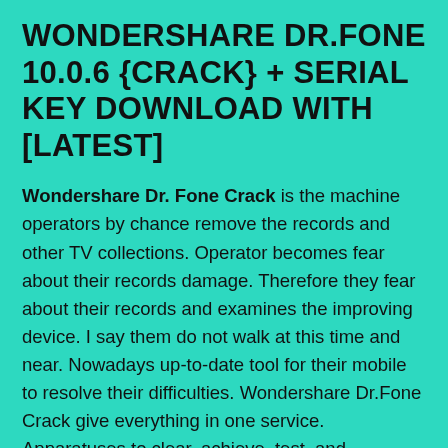WONDERSHARE DR.FONE 10.0.6 {CRACK} + SERIAL KEY DOWNLOAD WITH [LATEST]
Wondershare Dr. Fone Crack is the machine operators by chance remove the records and other TV collections. Operator becomes fear about their records damage. Therefore they fear about their records and examines the improving device. I say them do not walk at this time and near. Nowadays up-to-date tool for their mobile to resolve their difficulties. Wondershare Dr.Fone Crack give everything in one service. Apparatuses to clear, achieve, test, and improves their files in single device.
Wondershare Dr.Fone 10.0.6 Serial Key covers various great characteristics to protect your files and